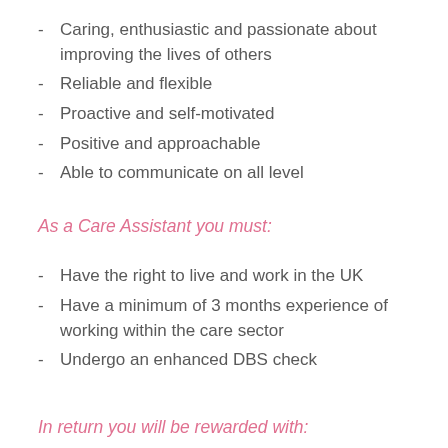- Caring, enthusiastic and passionate about improving the lives of others
- Reliable and flexible
- Proactive and self-motivated
- Positive and approachable
- Able to communicate on all level
As a Care Assistant you must:
- Have the right to live and work in the UK
- Have a minimum of 3 months experience of working within the care sector
- Undergo an enhanced DBS check
In return you will be rewarded with: